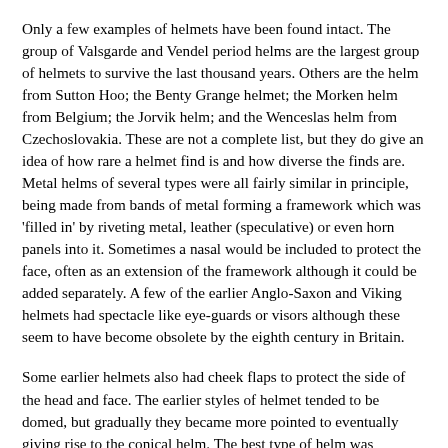Only a few examples of helmets have been found intact. The group of Valsgarde and Vendel period helms are the largest group of helmets to survive the last thousand years. Others are the helm from Sutton Hoo; the Benty Grange helmet; the Morken helm from Belgium; the Jorvik helm; and the Wenceslas helm from Czechoslovakia. These are not a complete list, but they do give an idea of how rare a helmet find is and how diverse the finds are. Metal helms of several types were all fairly similar in principle, being made from bands of metal forming a framework which was 'filled in' by riveting metal, leather (speculative) or even horn panels into it. Sometimes a nasal would be included to protect the face, often as an extension of the framework although it could be added separately. A few of the earlier Anglo-Saxon and Viking helmets had spectacle like eye-guards or visors although these seem to have become obsolete by the eighth century in Britain.
Some earlier helmets also had cheek flaps to protect the side of the head and face. The earlier styles of helmet tended to be domed, but gradually they became more pointed to eventually giving rise to the conical helm. The best type of helm was hammered and raised out of a single piece of iron and was therefore stronger than a riveted one. Helmets sometimes had a 'curtain' of mail called an aventail, hanging from the back of them to protect the back of the head and neck. In early times this was sometimes a solid metal